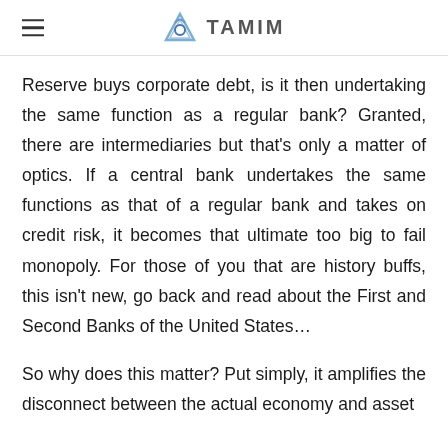TAMIM
Reserve buys corporate debt, is it then undertaking the same function as a regular bank? Granted, there are intermediaries but that's only a matter of optics. If a central bank undertakes the same functions as that of a regular bank and takes on credit risk, it becomes that ultimate too big to fail monopoly. For those of you that are history buffs, this isn't new, go back and read about the First and Second Banks of the United States…
So why does this matter? Put simply, it amplifies the disconnect between the actual economy and asset